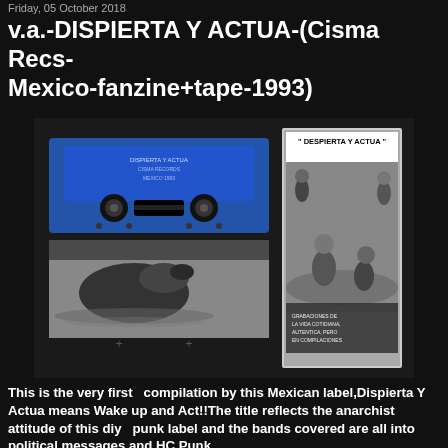Friday, 05 October 2018
v.a.-DISPIERTA Y ACTUA-(Cisma Recs-Mexico-fanzine+tape-1993)
[Figure (photo): Photo of a blue cassette tape with label 'Dispierta Y Actua', a cassette case insert showing a duck/bird, and a fanzine cover titled 'DESPIERTA Y ACTUA' showing children in water with text 'GRABACIONES DE LA VIDA COTIDIANA, AUTENTICA, PERO EN COMPILACIONES']
This is the very first  compilation by this Mexican label,Dispierta Y Actua means Wake up and Act!!The title reflects the anarchist attitude of this diy  punk label and the bands covered are all into political messages and HC Punk.
     It came out with a long fanzine with info about the bands,graphix works,addresses and some political